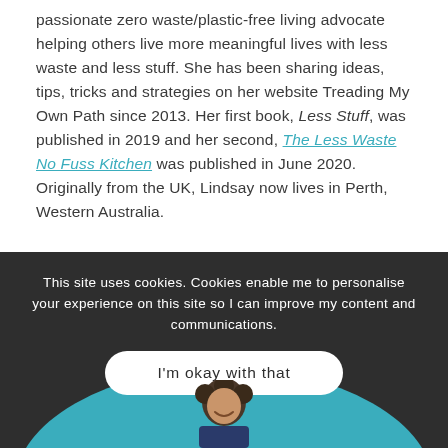passionate zero waste/plastic-free living advocate helping others live more meaningful lives with less waste and less stuff. She has been sharing ideas, tips, tricks and strategies on her website Treading My Own Path since 2013. Her first book, Less Stuff, was published in 2019 and her second, The Less Waste No Fuss Kitchen was published in June 2020. Originally from the UK, Lindsay now lives in Perth, Western Australia.
This site uses cookies. Cookies enable me to personalise your experience on this site so I can improve my content and communications.
I'm okay with that
[Figure (photo): Partial view of a smiling person with curly hair, visible from mid-face down, against a teal circular background arc.]